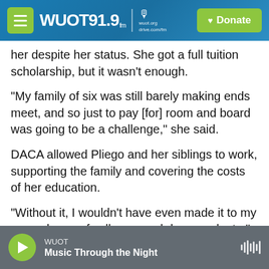WUOT 91.9 FM | wuot.org | Donate
her despite her status. She got a full tuition scholarship, but it wasn't enough.
"My family of six was still barely making ends meet, and so just to pay [for] room and board was going to be a challenge," she said.
DACA allowed Pliego and her siblings to work, supporting the family and covering the costs of her education.
"Without it, I wouldn't have even made it to my second year of college, much less graduate," Pliego said.
WUOT — Music Through the Night